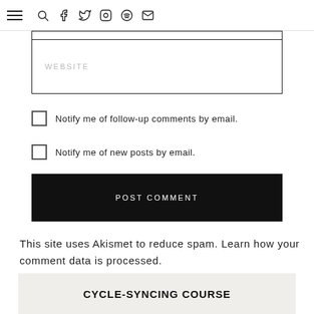Navigation bar with menu, search, facebook, twitter, instagram, spotify, mail icons
WEBSITE (input field placeholder)
Notify me of follow-up comments by email.
Notify me of new posts by email.
POST COMMENT
This site uses Akismet to reduce spam. Learn how your comment data is processed.
CYCLE-SYNCING COURSE